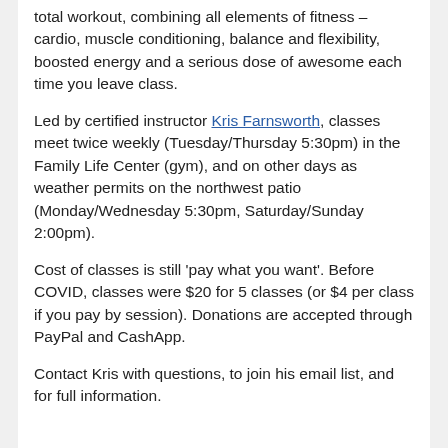total workout, combining all elements of fitness – cardio, muscle conditioning, balance and flexibility, boosted energy and a serious dose of awesome each time you leave class.
Led by certified instructor Kris Farnsworth, classes meet twice weekly (Tuesday/Thursday 5:30pm) in the Family Life Center (gym), and on other days as weather permits on the northwest patio (Monday/Wednesday 5:30pm, Saturday/Sunday 2:00pm).
Cost of classes is still 'pay what you want'. Before COVID, classes were $20 for 5 classes (or $4 per class if you pay by session). Donations are accepted through PayPal and CashApp.
Contact Kris with questions, to join his email list, and for full information.